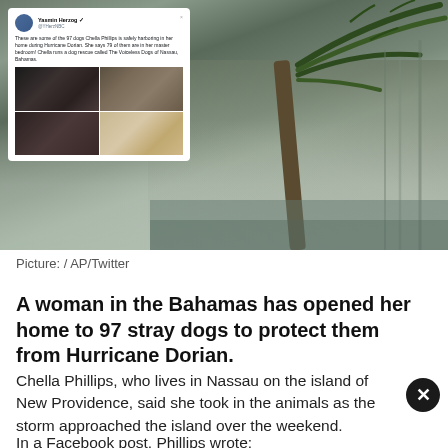[Figure (photo): Composite image: hurricane scene with palm tree bending in wind and rain on the right; overlaid tweet on the left showing text about Chella Phillips harboring 97 dogs during Hurricane Dorian, with four photos of dogs]
Picture:  /  AP/Twitter
A woman in the Bahamas has opened her home to 97 stray dogs to protect them from Hurricane Dorian.
Chella Phillips, who lives in Nassau on the island of New Providence, said she took in the animals as the storm approached the island over the weekend.
In a Facebook post, Phillips wrote: